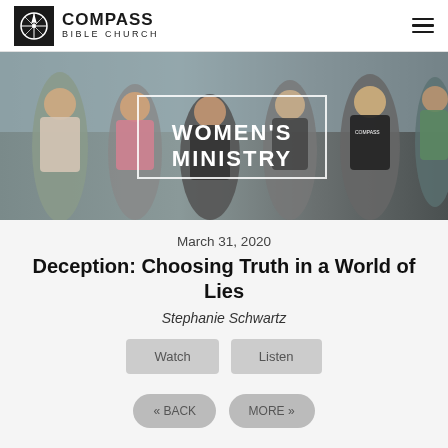Compass Bible Church
[Figure (photo): Women's Ministry banner photo showing a group of women posing together outdoors, with a white-bordered overlay text reading WOMEN'S MINISTRY]
March 31, 2020
Deception: Choosing Truth in a World of Lies
Stephanie Schwartz
Watch   Listen
« BACK   MORE »